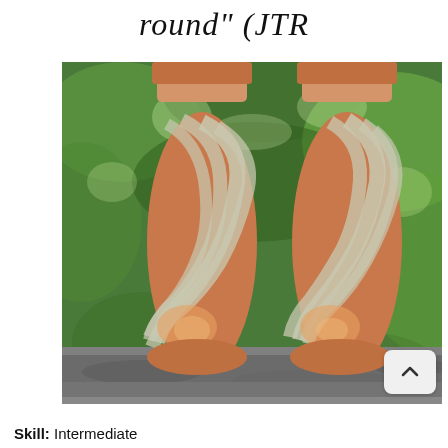round" (JTR
[Figure (photo): Two feet wearing orange and light grey spiral-patterned knitted socks, standing on a stone surface with green leafy background]
Skill: Intermediate